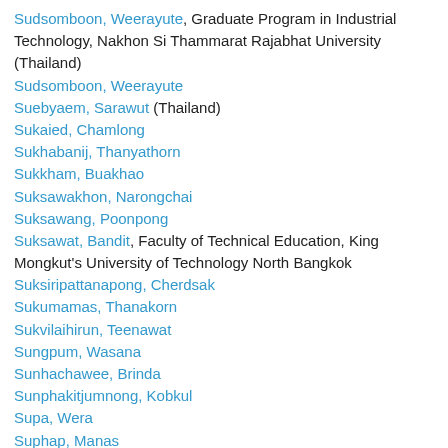Sudsomboon, Weerayute, Graduate Program in Industrial Technology, Nakhon Si Thammarat Rajabhat University (Thailand)
Sudsomboon, Weerayute
Suebyaem, Sarawut (Thailand)
Sukaied, Chamlong
Sukhabanij, Thanyathorn
Sukkham, Buakhao
Suksawakhon, Narongchai
Suksawang, Poonpong
Suksawat, Bandit, Faculty of Technical Education, King Mongkut's University of Technology North Bangkok
Suksiripattanapong, Cherdsak
Sukumamas, Thanakorn
Sukvilaihirun, Teenawat
Sungpum, Wasana
Sunhachawee, Brinda
Sunphakitjumnong, Kobkul
Supa, Wera
Suphap, Manas
Suphasitthayingyong, Pimolrat